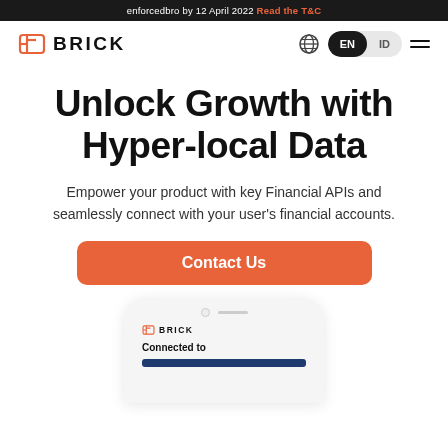enforcedbro by 12 April 2022 Read the T&C
[Figure (logo): BRICK logo with orange icon and bold black wordmark BRICK]
Unlock Growth with Hyper-local Data
Empower your product with key Financial APIs and seamlessly connect with your user's financial accounts.
Contact Us
[Figure (screenshot): Phone mockup showing BRICK app interface with Connected to text and a dark blue bar]